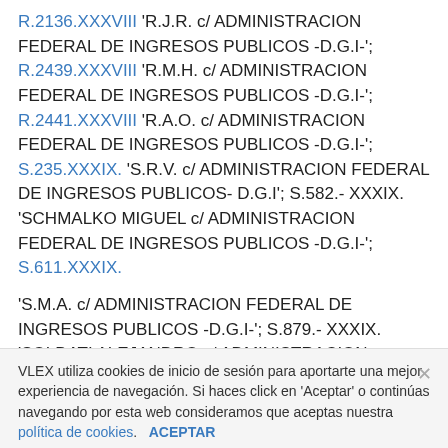R.2136.XXXVIII 'R.J.R. c/ ADMINISTRACION FEDERAL DE INGRESOS PUBLICOS -D.G.I-'; R.2439.XXXVIII 'R.M.H. c/ ADMINISTRACION FEDERAL DE INGRESOS PUBLICOS -D.G.I-'; R.2441.XXXVIII 'R.A.O. c/ ADMINISTRACION FEDERAL DE INGRESOS PUBLICOS -D.G.I-'; S.235.XXXIX. 'S.R.V. c/ ADMINISTRACION FEDERAL DE INGRESOS PUBLICOS- D.G.I'; S.582.- XXXIX. 'SCHMALKO MIGUEL c/ ADMINISTRACION FEDERAL DE INGRESOS PUBLICOS -D.G.I-'; S.611.XXXIX.
'S.M.A. c/ ADMINISTRACION FEDERAL DE INGRESOS PUBLICOS -D.G.I-'; S.879.- XXXIX. 'SOLDATI ALEJANDRO c/ ADMINISTRACION FEDERAL DE INGRESOS PUBLICOS -D.G.I-'; S.926.XXXVIII 'S.P.L. c/ ADMINISTRACION FEDERAL DE INGRESOS
VLEX utiliza cookies de inicio de sesión para aportarte una mejor experiencia de navegación. Si haces click en 'Aceptar' o continúas navegando por esta web consideramos que aceptas nuestra política de cookies.    ACEPTAR